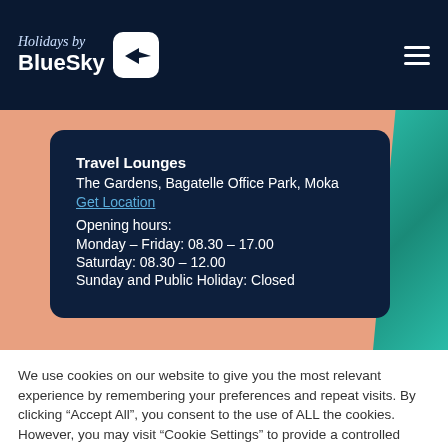Holidays by BlueSky
Travel Lounges
The Gardens, Bagatelle Office Park, Moka
Get Location
Opening hours:
Monday – Friday: 08.30 – 17.00
Saturday: 08.30 – 12.00
Sunday and Public Holiday: Closed
We use cookies on our website to give you the most relevant experience by remembering your preferences and repeat visits. By clicking “Accept All”, you consent to the use of ALL the cookies. However, you may visit “Cookie Settings” to provide a controlled consent.